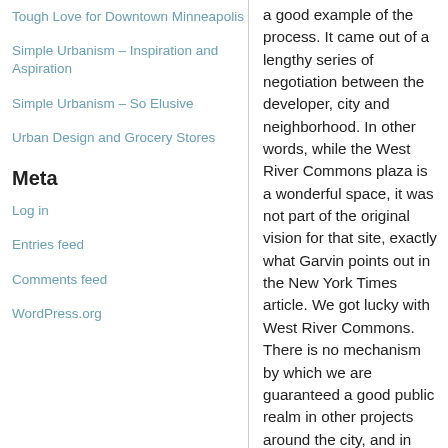Tough Love for Downtown Minneapolis
Simple Urbanism – Inspiration and Aspiration
Simple Urbanism – So Elusive
Urban Design and Grocery Stores
Meta
Log in
Entries feed
Comments feed
WordPress.org
a good example of the process. It came out of a lengthy series of negotiation between the developer, city and neighborhood. In other words, while the West River Commons plaza is a wonderful space, it was not part of the original vision for that site, exactly what Garvin points out in the New York Times article. We got lucky with West River Commons. There is no mechanism by which we are guaranteed a good public realm in other projects around the city, and in fact, West River Commons is the sadly the exception.
Garvin looks to the Dutch for a fine example of how to do